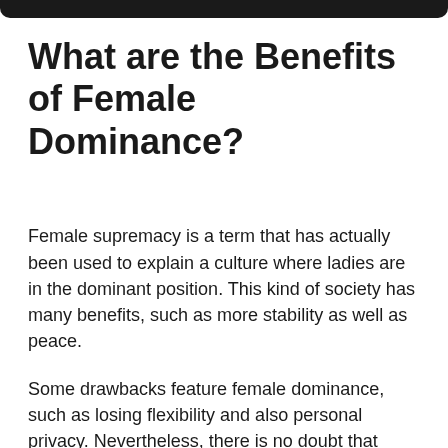What are the Benefits of Female Dominance?
Female supremacy is a term that has actually been used to explain a culture where ladies are in the dominant position. This kind of society has many benefits, such as more stability as well as peace.
Some drawbacks feature female dominance, such as losing flexibility and also personal privacy. Nevertheless, there is no doubt that female prominence provides numerous